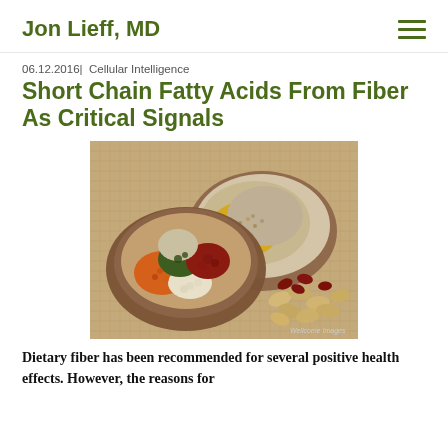Jon Lieff, MD
06.12.2016| Cellular Intelligence
Short Chain Fatty Acids From Fiber As Critical Signals
[Figure (photo): Two wooden bowls filled with assorted legumes, grains, and seeds including lentils, beans, mung beans, and various grains, arranged on a burlap surface with scattered whole beans and peanuts. Watermark: Wellcome Images]
Dietary fiber has been recommended for several positive health effects. However, the reasons for